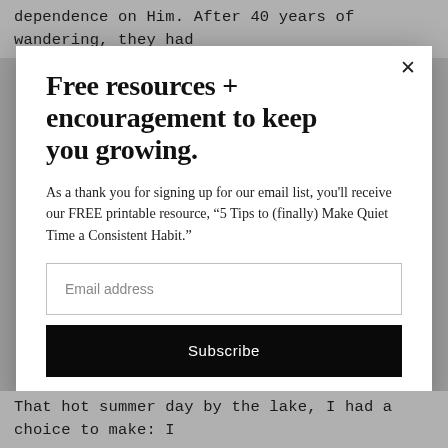dependence on Him. After 40 years of wandering, they had
Free resources + encouragement to keep you growing.
As a thank you for signing up for our email list, you'll receive our FREE printable resource, “5 Tips to (finally) Make Quiet Time a Consistent Habit.”
Email address
Subscribe
That hot summer day by the lake, I had a choice to make: I